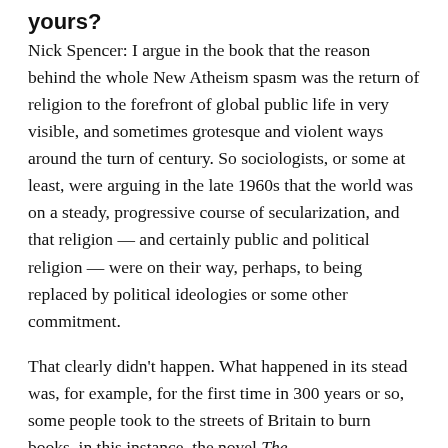yours?
Nick Spencer: I argue in the book that the reason behind the whole New Atheism spasm was the return of religion to the forefront of global public life in very visible, and sometimes grotesque and violent ways around the turn of century. So sociologists, or some at least, were arguing in the late 1960s that the world was on a steady, progressive course of secularization, and that religion — and certainly public and political religion — were on their way, perhaps, to being replaced by political ideologies or some other commitment.
That clearly didn't happen. What happened in its stead was, for example, for the first time in 300 years or so, some people took to the streets of Britain to burn books, in this instance, the novel The